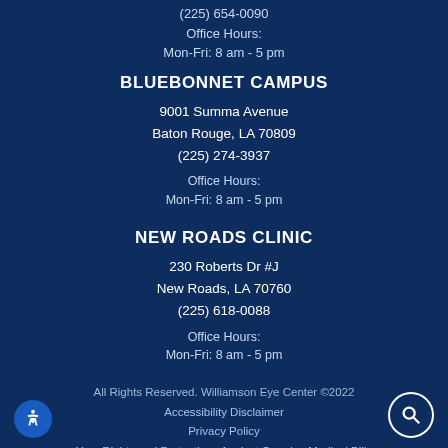(225) 654-0090
Office Hours:
Mon-Fri: 8 am - 5 pm
BLUEBONNET CAMPUS
9001 Summa Avenue
Baton Rouge, LA 70809
(225) 274-3937
Office Hours:
Mon-Fri: 8 am - 5 pm
NEW ROADS CLINIC
230 Roberts Dr #J
New Roads, LA 70760
(225) 618-0088
Office Hours:
Mon-Fri: 8 am - 5 pm
All Rights Reserved. Williamson Eye Center ©2022
Accessibility Disclaimer
Privacy Policy
Your Rights and Protections Against Surprise Medical Bills
If you are using a screen reader and are having problems using this website, please